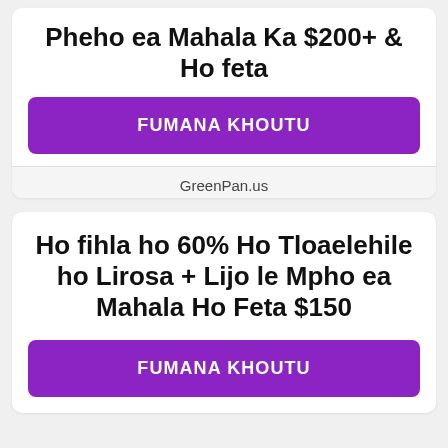Pheho ea Mahala Ka $200+ & Ho feta
FUMANA KHOUTU
GreenPan.us
Ho fihla ho 60% Ho Tloaelehile ho Lirosa + Lijo le Mpho ea Mahala Ho Feta $150
FUMANA KHOUTU